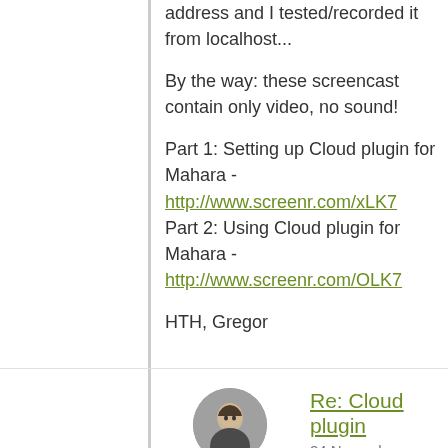address and I tested/recorded it from localhost...
By the way: these screencast contain only video, no sound!
Part 1: Setting up Cloud plugin for Mahara - http://www.screenr.com/xLK7
Part 2: Using Cloud plugin for Mahara - http://www.screenr.com/OLK7
HTH, Gregor
[Figure (photo): Avatar photo of Günter Nimmerfall, a man in a dark shirt]
Günter Nimmerfall
Posts: 14
Re: Cloud plugin
24 November 2014, 4:02
Dear Gregor,
Thank you very much for your